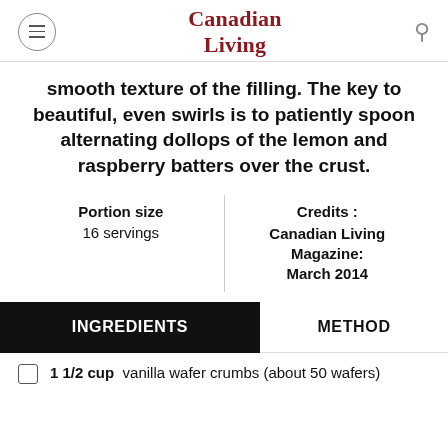Canadian Living
smooth texture of the filling. The key to beautiful, even swirls is to patiently spoon alternating dollops of the lemon and raspberry batters over the crust.
| Portion size | Credits : |
| --- | --- |
| 16 servings | Canadian Living Magazine: March 2014 |
INGREDIENTS
METHOD
1 1/2 cup  vanilla wafer crumbs (about 50 wafers)